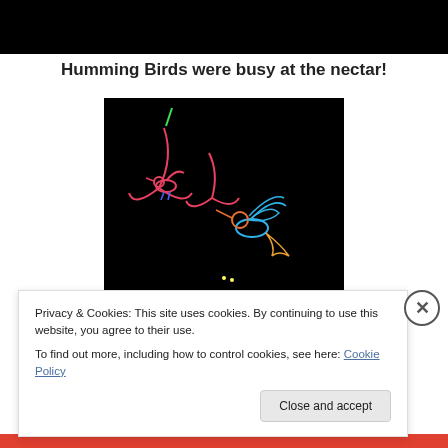[Figure (photo): Black rectangular bar at the top of the page, like a video or image header area]
Humming Birds were busy at the nectar!
[Figure (photo): Neon light art photo on black background showing colorful hummingbirds near flowers/feeders — one pink/red bird outline, one blue bird, with orange and green accent details]
Privacy & Cookies: This site uses cookies. By continuing to use this website, you agree to their use.
To find out more, including how to control cookies, see here: Cookie Policy